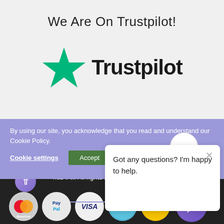We Are On Trustpilot!
[Figure (logo): Trustpilot logo with green star and bold 'Trustpilot' wordmark]
By using our site, you acknowledge that you read and understand our Cookie Policy.
Cookie settings   Accept
Got any questions? I'm happy to help.
© nez4All. All rights reserved | Site Map
[Figure (logo): Payment method logos: MasterCard, PayPal, VISA, American Express, Western Union, chat icon]